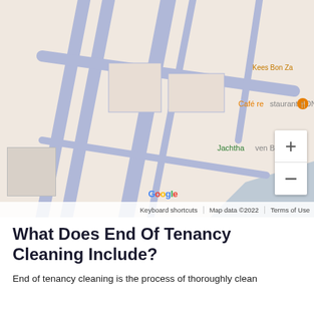[Figure (map): Google Maps screenshot showing street/road map with blue road lines on beige background. Labels visible include 'Café restaurant BON' in orange, 'Kees Bon Za' in orange top right, 'Jachthaven Bön' in green, and a Google logo at bottom. Map includes zoom controls (+/-) on the right, a minimap thumbnail in bottom-left, and footer bar with 'Keyboard shortcuts | Map data ©2022 | Terms of Use'.]
What Does End Of Tenancy Cleaning Include?
End of tenancy cleaning is the process of thoroughly clean